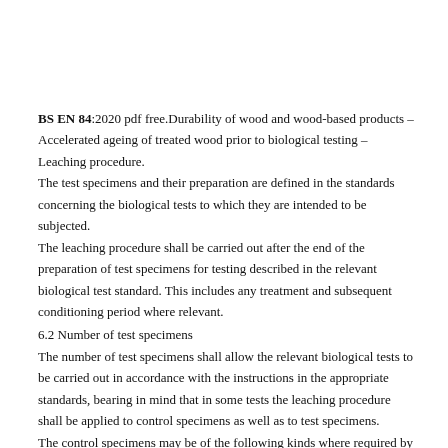BS EN 84:2020 pdf free.Durability of wood and wood-based products – Accelerated ageing of treated wood prior to biological testing – Leaching procedure.
The test specimens and their preparation are defined in the standards concerning the biological tests to which they are intended to be subjected.
The leaching procedure shall be carried out after the end of the preparation of test specimens for testing described in the relevant biological test standard. This includes any treatment and subsequent conditioning period where relevant.
6.2 Number of test specimens
The number of test specimens shall allow the relevant biological tests to be carried out in accordance with the instructions in the appropriate standards, bearing in mind that in some tests the leaching procedure shall be applied to control specimens as well as to test specimens.
The control specimens may be of the following kinds where required by the relevant test standard: